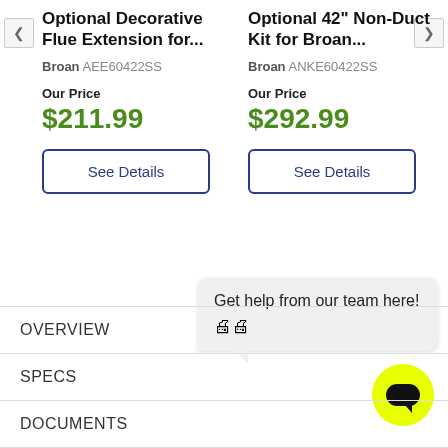Optional Decorative Flue Extension for...
Broan AEE60422SS
Our Price
$211.99
See Details
Optional 42" Non-Duct Kit for Broan...
Broan ANKE60422SS
Our Price
$292.99
See Details
Get help from our team here! 🤖🤖
OVERVIEW
SPECS
DOCUMENTS